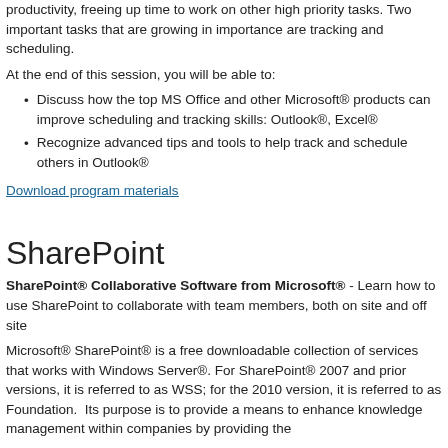productivity, freeing up time to work on other high priority tasks. Two important tasks that are growing in importance are tracking and scheduling.
At the end of this session, you will be able to:
Discuss how the top MS Office and other Microsoft® products can improve scheduling and tracking skills: Outlook®, Excel®
Recognize advanced tips and tools to help track and schedule others in Outlook®
Download program materials
SharePoint
SharePoint® Collaborative Software from Microsoft® - Learn how to use SharePoint to collaborate with team members, both on site and off site
Microsoft® SharePoint® is a free downloadable collection of services that works with Windows Server®. For SharePoint® 2007 and prior versions, it is referred to as WSS; for the 2010 version, it is referred to as Foundation.  Its purpose is to provide a means to enhance knowledge management within companies by providing the